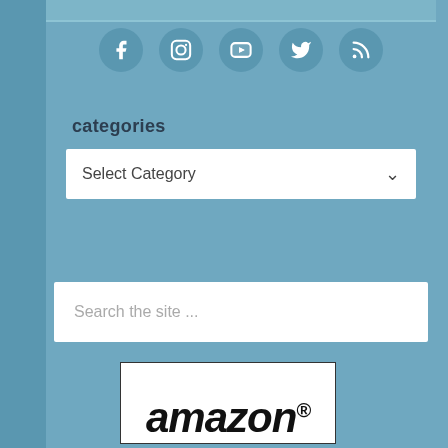[Figure (infographic): Row of 5 social media icons (Facebook, Instagram, YouTube, Twitter, RSS) as teal/steel-blue circles with white symbols]
categories
Select Category
Search the site ...
[Figure (logo): Amazon logo in black bold italic text with registered trademark symbol, inside a black-bordered white rectangle]